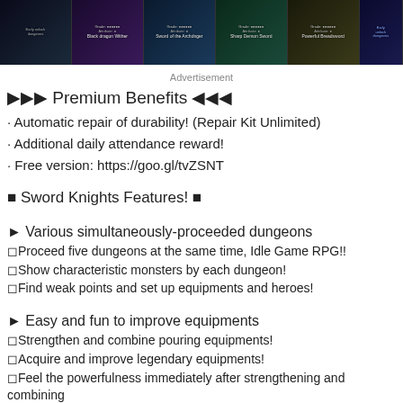[Figure (screenshot): Row of game item thumbnails showing various swords and equipment with grade and attribute info on dark fantasy backgrounds]
Advertisement
▶▶▶ Premium Benefits ◀◀◀
· Automatic repair of durability! (Repair Kit Unlimited)
· Additional daily attendance reward!
· Free version: https://goo.gl/tvZSNT
■ Sword Knights Features! ■
► Various simultaneously-proceeded dungeons
◻Proceed five dungeons at the same time, Idle Game RPG!!
◻Show characteristic monsters by each dungeon!
◻Find weak points and set up equipments and heroes!
► Easy and fun to improve equipments
◻Strengthen and combine pouring equipments!
◻Acquire and improve legendary equipments!
◻Feel the powerfulness immediately after strengthening and combining